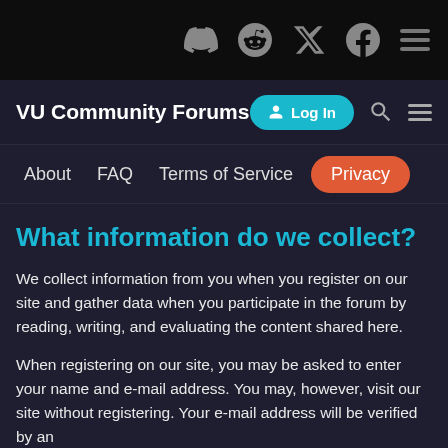Social icons: Discord, Reddit, Twitter, Facebook, Menu
VU Community Forums | Log In | Search | Menu
About | FAQ | Terms of Service | Privacy
What information do we collect?
We collect information from you when you register on our site and gather data when you participate in the forum by reading, writing, and evaluating the content shared here.
When registering on our site, you may be asked to enter your name and e-mail address. You may, however, visit our site without registering. Your e-mail address will be verified by an